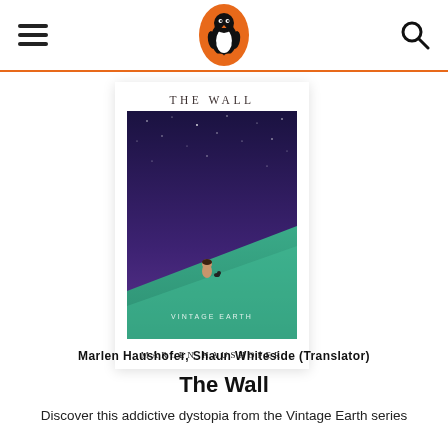Penguin Books navigation header with hamburger menu, Penguin logo, and search icon
[Figure (illustration): Book cover of 'The Wall' by Marlen Haushofer — Vintage Earth edition. Shows a lone figure sitting on a green hill under a deep purple/blue starry night sky. Title 'THE WALL' at top in serif capitals, 'VINTAGE EARTH' label near bottom, 'MARLEN HAUSHOFER' in capitals at base.]
Marlen Haushofer, Shaun Whiteside (Translator)
The Wall
Discover this addictive dystopia from the Vintage Earth series